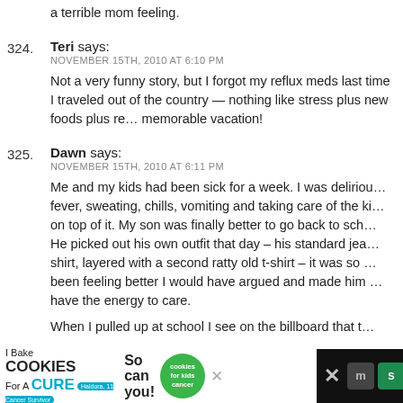a terrible mom feeling.
324. Teri says:
NOVEMBER 15TH, 2010 AT 6:10 PM
Not a very funny story, but I forgot my reflux meds last time I traveled out of the country — nothing like stress plus new foods plus reflux to make for a memorable vacation!
325. Dawn says:
NOVEMBER 15TH, 2010 AT 6:11 PM
Me and my kids had been sick for a week. I was delirious with fever, sweating, chills, vomiting and taking care of the kids on top of it. My son was finally better to go back to school. He picked out his own outfit that day – his standard jeans and a shirt, layered with a second ratty old t-shirt – it was so worn. If I'd been feeling better I would have argued and made him change, but didn't have the energy to care.
When I pulled up at school I see on the billboard that to
[Figure (screenshot): Advertisement banner at bottom: I Bake COOKIES For A CURE with Haldora, 11 Cancer Survivor. So can you! cookies for kids cancer logo. Social media icons and close button.]